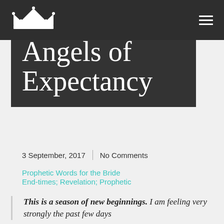Angels of Expectancy
Angels of Expectancy
3 September, 2017 | No Comments
Prophetic Words for the Bride
End-times; Revelation; Prophetic
This is a season of new beginnings. I am feeling very strongly the past few days